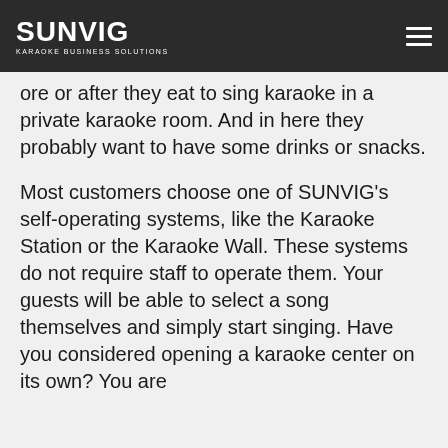SUNVIG KARAOKE BUSINESS SOLUTIONS
group of guests who will stay longer before or after they eat to sing karaoke in a private karaoke room. And in here they probably want to have some drinks or snacks.
Most customers choose one of SUNVIG's self-operating systems, like the Karaoke Station or the Karaoke Wall. These systems do not require staff to operate them. Your guests will be able to select a song themselves and simply start singing. Have you considered opening a karaoke center on its own? You are